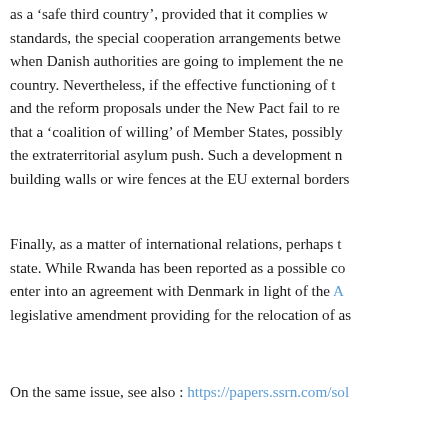as a 'safe third country', provided that it complies with standards, the special cooperation arrangements between when Danish authorities are going to implement the new country. Nevertheless, if the effective functioning of the and the reform proposals under the New Pact fail to re- that a 'coalition of willing' of Member States, possibly s the extraterritorial asylum push. Such a development m building walls or wire fences at the EU external borders
Finally, as a matter of international relations, perhaps t state. While Rwanda has been reported as a possible co enter into an agreement with Denmark in light of the A legislative amendment providing for the relocation of as
On the same issue, see also : https://papers.ssrn.com/sol